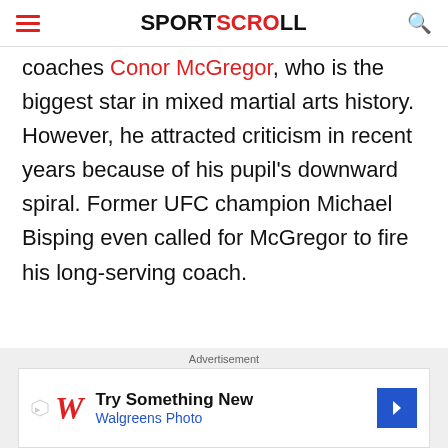SPORTSCROLL
coaches Conor McGregor, who is the biggest star in mixed martial arts history. However, he attracted criticism in recent years because of his pupil's downward spiral. Former UFC champion Michael Bisping even called for McGregor to fire his long-serving coach.
Advertisement